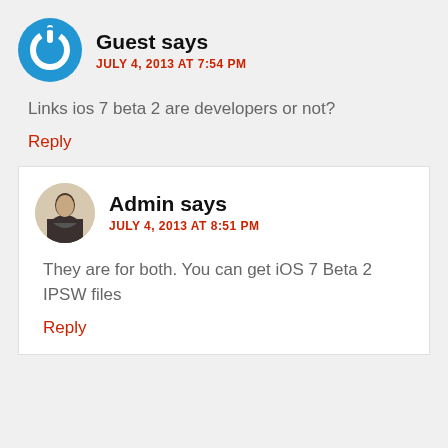[Figure (logo): Blue circular power/refresh icon used as guest avatar]
Guest says
JULY 4, 2013 AT 7:54 PM
Links ios 7 beta 2 are developers or not?
Reply
[Figure (photo): Admin avatar: circular profile photo of a man]
Admin says
JULY 4, 2013 AT 8:51 PM
They are for both. You can get iOS 7 Beta 2 IPSW files
Reply